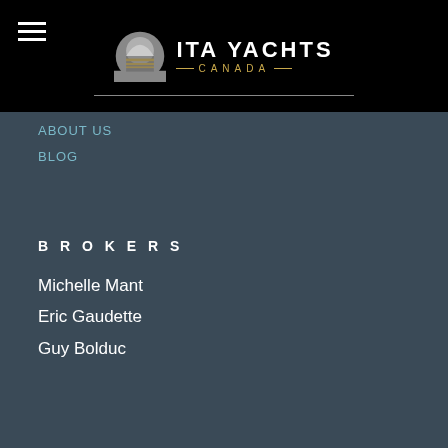[Figure (logo): ITA Yachts Canada logo with circular sunset graphic and gold/white text]
ABOUT US
BLOG
BROKERS
Michelle Mant
Eric Gaudette
Guy Bolduc